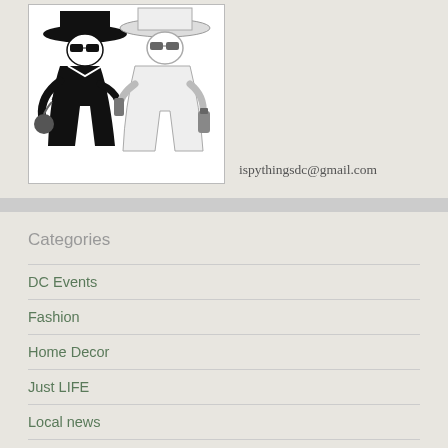[Figure (illustration): Black and white cartoon illustration of two spy figures in hats, one holding a bomb and one holding items, facing each other]
ispythingsdc@gmail.com
Categories
DC Events
Fashion
Home Decor
Just LIFE
Local news
Miscellaneous Retail
Snacks